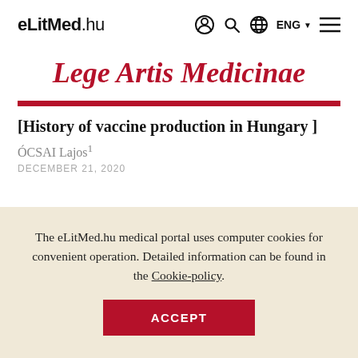eLitMed.hu [nav icons: user, search, globe, ENG, menu]
Lege Artis Medicinae
[History of vaccine production in Hungary ]
ÓCSAI Lajos¹
DECEMBER 21, 2020
The eLitMed.hu medical portal uses computer cookies for convenient operation. Detailed information can be found in the Cookie-policy.
ACCEPT